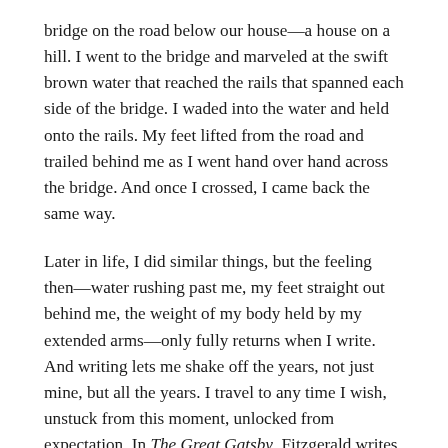bridge on the road below our house—a house on a hill. I went to the bridge and marveled at the swift brown water that reached the rails that spanned each side of the bridge. I waded into the water and held onto the rails. My feet lifted from the road and trailed behind me as I went hand over hand across the bridge. And once I crossed, I came back the same way.
Later in life, I did similar things, but the feeling then—water rushing past me, my feet straight out behind me, the weight of my body held by my extended arms—only fully returns when I write. And writing lets me shake off the years, not just mine, but all the years. I travel to any time I wish, unstuck from this moment, unlocked from expectation. In The Great Gatsby, Fitzgerald writes about romping in the mind of God. Writing is like that. It can be. It must be.